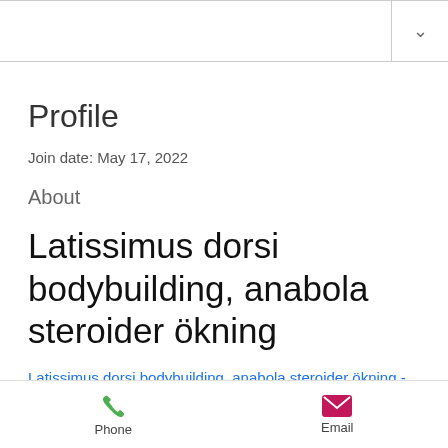Profile
Join date: May 17, 2022
About
Latissimus dorsi bodybuilding, anabola steroider ökning
Latissimus dorsi bodybuilding, anabola steroider ökning - Köp legala anabola steroider
Phone  Email